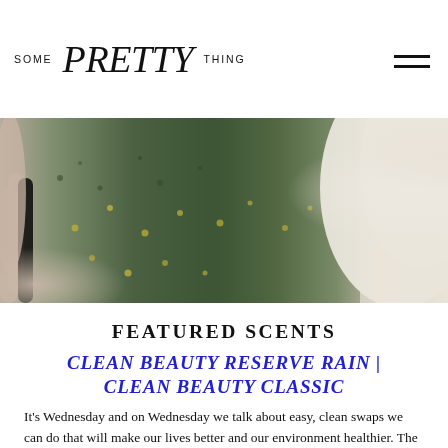SOME Pretty THING
[Figure (photo): Close-up photo of hands against a blurred green botanical background with small yellow flowers]
FEATURED SCENTS
CLEAN BEAUTY RESERVE RAIN | CLEAN BEAUTY CLASSIC
It's Wednesday and on Wednesday we talk about easy, clean swaps we can do that will make our lives better and our environment healthier. The first post in the series talked about